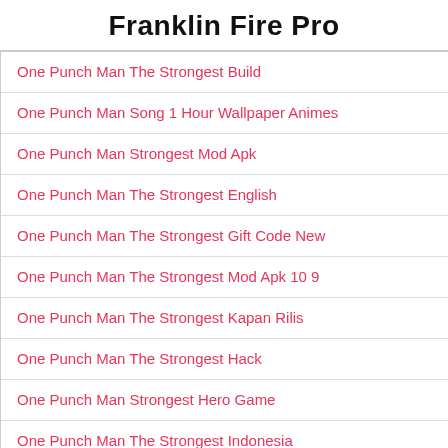Franklin Fire Pro
One Punch Man The Strongest Build
One Punch Man Song 1 Hour Wallpaper Animes
One Punch Man Strongest Mod Apk
One Punch Man The Strongest English
One Punch Man The Strongest Gift Code New
One Punch Man The Strongest Mod Apk 10 9
One Punch Man The Strongest Kapan Rilis
One Punch Man The Strongest Hack
One Punch Man Strongest Hero Game
One Punch Man The Strongest Indonesia
One Punch Man The Strongest Item